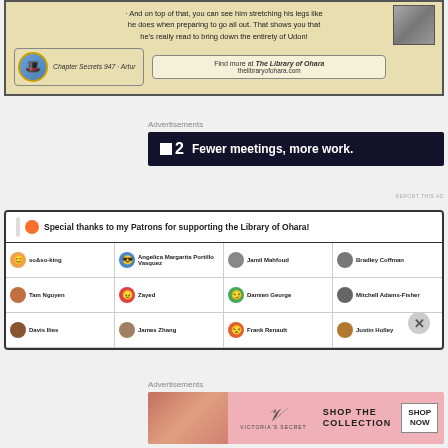[Figure (screenshot): Top beige panel with text about stretching legs, Chapter Secrets 947 Artur badge, and Library of Ohara info box]
Advertisements
[Figure (screenshot): Dark advertisement banner: P2 logo with text 'Fewer meetings, more work.']
[Figure (screenshot): Patrons box: Special thanks to my Patrons for supporting the Library of Ohara! Grid of patrons: so&so-king, Angelica Margarita Portillo Vasquez, Jamil Mahfoud, Bradley Coffman, Tam Nguyen, Zayed, Damien George, Mitchell Adams-Fisher, Davis Ilies, James Zhang, Frank Renault, Justin Holley]
Advertisements
[Figure (screenshot): Victoria's Secret advertisement: SHOP THE COLLECTION with SHOP NOW button]